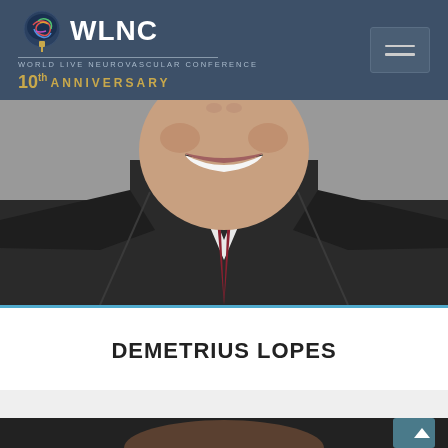WLNC - World Live Neurovascular Conference - 10th Anniversary
[Figure (photo): Cropped headshot photo of a man in a dark suit and dark red tie, smiling, gray background]
DEMETRIUS LOPES
[Figure (photo): Partial headshot photo of another person, dark background, cropped at bottom of page]